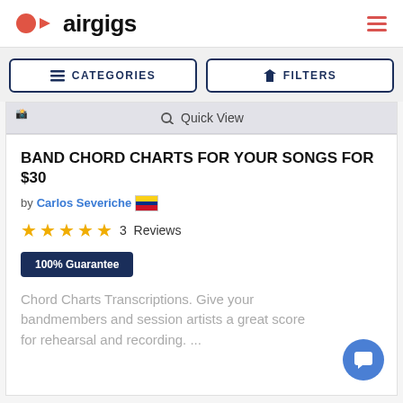airgigs
CATEGORIES
FILTERS
Quick View
BAND CHORD CHARTS FOR YOUR SONGS FOR $30
by Carlos Severiche 🇨🇴
★★★★★ 3 Reviews
100% Guarantee
Chord Charts Transcriptions. Give your bandmembers and session artists a great score for rehearsal and recording. ...